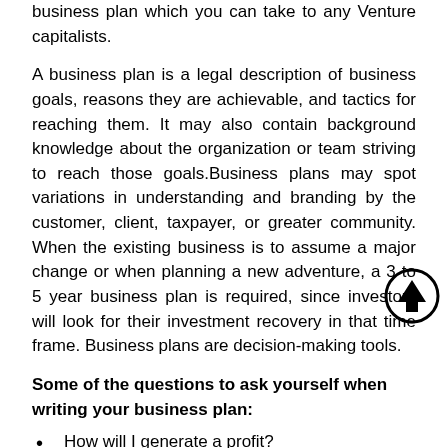business plan which you can take to any Venture capitalists.
A business plan is a legal description of business goals, reasons they are achievable, and tactics for reaching them. It may also contain background knowledge about the organization or team striving to reach those goals.Business plans may spot variations in understanding and branding by the customer, client, taxpayer, or greater community. When the existing business is to assume a major change or when planning a new adventure, a 3 to 5 year business plan is required, since investors will look for their investment recovery in that time frame. Business plans are decision-making tools.
Some of the questions to ask yourself when writing your business plan:
How will I generate a profit?
How will I run the business if sales are low or if profits are down?
Who is my competition, and how will you coexist?
Who is my target market?